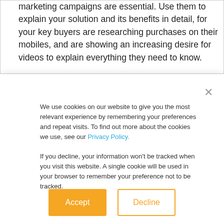marketing campaigns are essential. Use them to explain your solution and its benefits in detail, for your key buyers are researching purchases on their mobiles, and are showing an increasing desire for videos to explain everything they need to know.
We use cookies on our website to give you the most relevant experience by remembering your preferences and repeat visits. To find out more about the cookies we use, see our Privacy Policy.
If you decline, your information won't be tracked when you visit this website. A single cookie will be used in your browser to remember your preference not to be tracked.
Accept
Decline